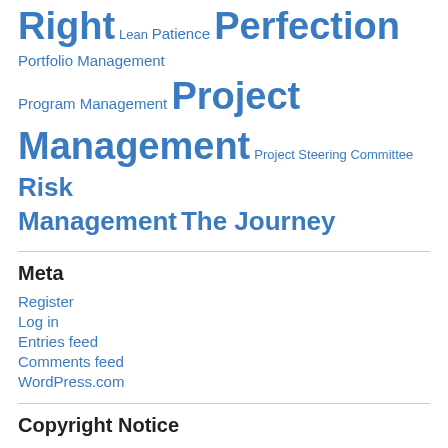Right Lean Patience Perfection Portfolio Management Program Management Project Management Project Steering Committee Risk Management The Journey
Meta
Register
Log in
Entries feed
Comments feed
WordPress.com
Copyright Notice